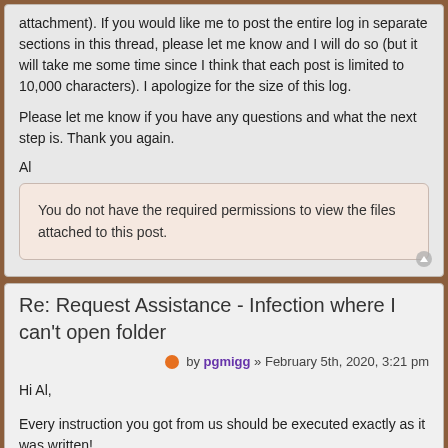attachment). If you would like me to post the entire log in separate sections in this thread, please let me know and I will do so (but it will take me some time since I think that each post is limited to 10,000 characters). I apologize for the size of this log.
Please let me know if you have any questions and what the next step is. Thank you again.
Al
You do not have the required permissions to view the files attached to this post.
Re: Request Assistance - Infection where I can't open folder
by pgmigg » February 5th, 2020, 3:21 pm
Hi Al,
Every instruction you got from us should be executed exactly as it was written!
You don't need to care about possibility to open a log by your helper...